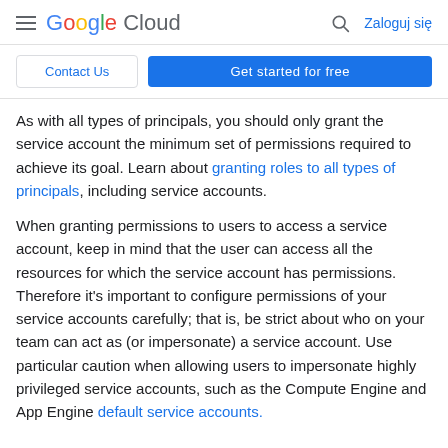Google Cloud — Zaloguj się
Contact Us | Get started for free
As with all types of principals, you should only grant the service account the minimum set of permissions required to achieve its goal. Learn about granting roles to all types of principals, including service accounts.
When granting permissions to users to access a service account, keep in mind that the user can access all the resources for which the service account has permissions. Therefore it's important to configure permissions of your service accounts carefully; that is, be strict about who on your team can act as (or impersonate) a service account. Use particular caution when allowing users to impersonate highly privileged service accounts, such as the Compute Engine and App Engine default service accounts.